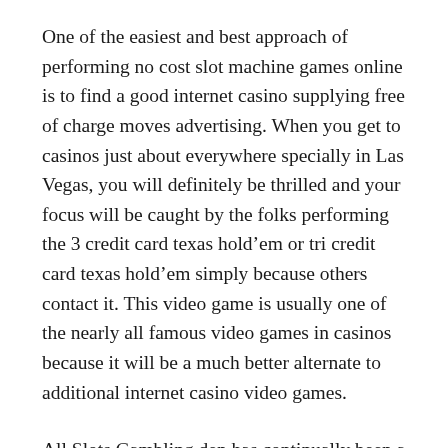One of the easiest and best approach of performing no cost slot machine games online is to find a good internet casino supplying free of charge moves advertising. When you get to casinos just about everywhere specially in Las Vegas, you will definitely be thrilled and your focus will be caught by the folks performing the 3 credit card texas hold’em or tri credit card texas hold’em simply because others contact it. This video game is usually one of the nearly all famous video games in casinos because it will be a much better alternate to additional internet casino video games.
All Slots Gambling den has continually been a preferred webpage among admirers of